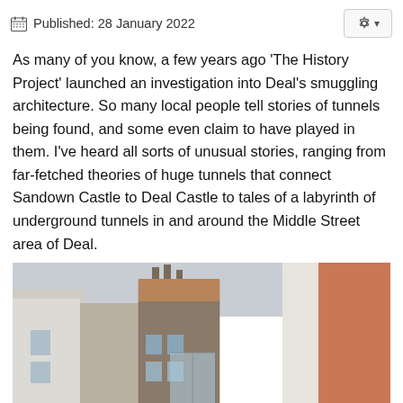Published: 28 January 2022
As many of you know, a few years ago ‘The History Project’ launched an investigation into Deal’s smuggling architecture.  So many local people tell stories of tunnels being found, and some even claim to have played in them.  I’ve heard all sorts of unusual stories, ranging from far-fetched theories of huge tunnels that connect Sandown Castle to Deal Castle to tales of a labyrinth of underground tunnels in and around the Middle Street area of Deal.
[Figure (photo): Street-level photograph of a narrow row of old English terraced buildings with brick and white-painted facades, chimneys visible against overcast sky, a person partially visible at street level.]